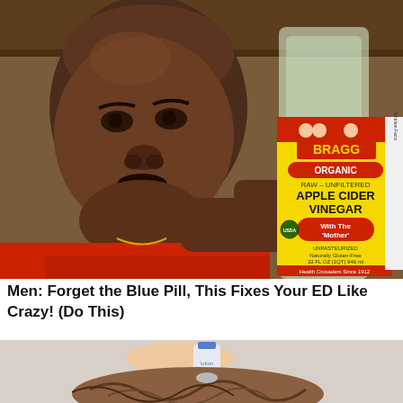[Figure (photo): A man holding a bottle of Bragg Organic Raw Unfiltered Apple Cider Vinegar With The Mother. The man is wearing a red shirt and appears to be in a kitchen. The bottle has a yellow label with red accents.]
Men: Forget the Blue Pill, This Fixes Your ED Like Crazy! (Do This)
[Figure (photo): A hand applying a product (appears to be a cream or spray) to someone's hair/scalp. Partial image cropped at the bottom of the page.]